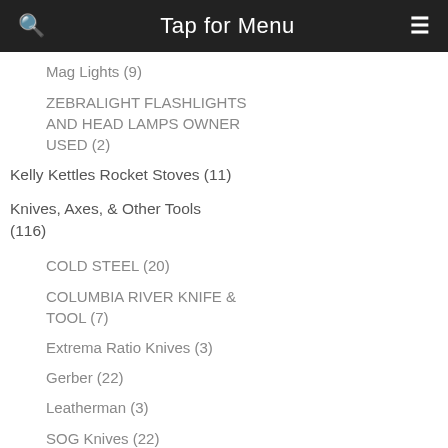Tap for Menu
Mag Lights (9)
ZEBRALIGHT FLASHLIGHTS AND HEAD LAMPS OWNER USED (2)
Kelly Kettles Rocket Stoves (11)
Knives, Axes, & Other Tools (116)
COLD STEEL (20)
COLUMBIA RIVER KNIFE & TOOL (7)
Extrema Ratio Knives (3)
Gerber (22)
Leatherman (3)
SOG Knives (22)
Spec Plus Knives (5)